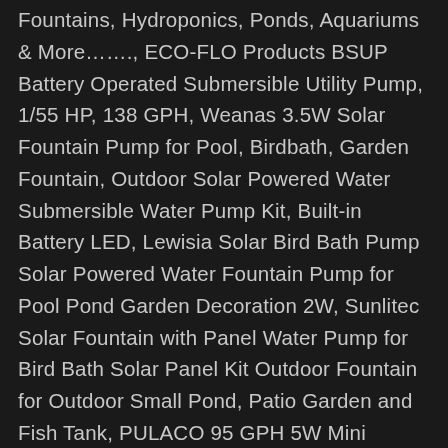Fountains, Hydroponics, Ponds, Aquariums & More……., ECO-FLO Products BSUP Battery Operated Submersible Utility Pump, 1/55 HP, 138 GPH, Weanas 3.5W Solar Fountain Pump for Pool, Birdbath, Garden Fountain, Outdoor Solar Powered Water Submersible Water Pump Kit, Built-in Battery LED, Lewisia Solar Bird Bath Pump Solar Powered Water Fountain Pump for Pool Pond Garden Decoration 2W, Sunlitec Solar Fountain with Panel Water Pump for Bird Bath Solar Panel Kit Outdoor Fountain for Outdoor Small Pond, Patio Garden and Fish Tank, PULACO 95 GPH 5W Mini Submersible Water Pump for Aquarium Fish Tank, Pond, Fountain, Hydroponics, Join Prime to save $2.40 more on this item, Ankway 2.5W Solar Fountain with 800mAh Battery, Upgrade Version Solar Powered Fountain Pump for Bird Bath,Garden Backyard Pond Pool Outdoor,Free Standing Floating Solar Water Fountain with 7 Nozzle, Lewisia Battery Backup Solar Fountain Pump with LED Lighting for Garden Koi Pond Pool Bird Bath Submersible Solar Water Pump Kit 8W, Viajero Latest Upgrade 2.5W Solar Fountain Pump for Bird Bath with 800mAh Battery